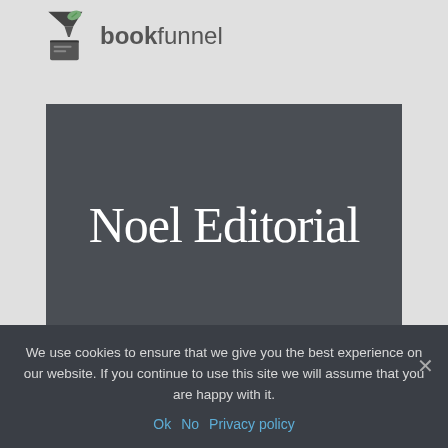[Figure (logo): BookFunnel logo with funnel icon and text 'bookfunnel' in dark gray]
[Figure (illustration): Dark gray rectangular banner with white serif text reading 'Noel Editorial']
We use cookies to ensure that we give you the best experience on our website. If you continue to use this site we will assume that you are happy with it.
Ok  No  Privacy policy